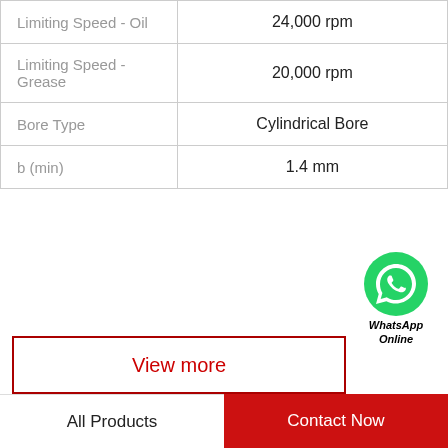| Property | Value |
| --- | --- |
| Limiting Speed - Oil | 24,000 rpm |
| Limiting Speed - Grease | 20,000 rpm |
| Bore Type | Cylindrical Bore |
| b (min) | 1.4 mm |
[Figure (logo): WhatsApp green circle icon with phone handset, labeled WhatsApp Online]
View more
Company Profile
NTNY BEARING LTD
All Products
Contact Now